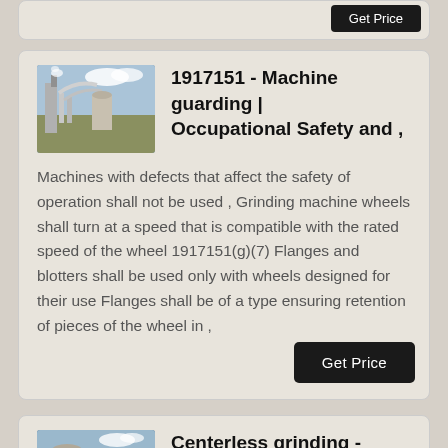[Figure (other): Partial card top with Get Price button visible]
[Figure (photo): Industrial machinery with pipes and equipment - thumbnail for Machine guarding article]
1917151 - Machine guarding | Occupational Safety and ,
Machines with defects that affect the safety of operation shall not be used , Grinding machine wheels shall turn at a speed that is compatible with the rated speed of the wheel 1917151(g)(7) Flanges and blotters shall be used only with wheels designed for their use Flanges shall be of a type ensuring retention of pieces of the wheel in ,
[Figure (photo): Industrial grinding machinery thumbnail - for Centerless grinding Wikipedia article]
Centerless grinding - Wikipedia
Centerless grinding is a machining process